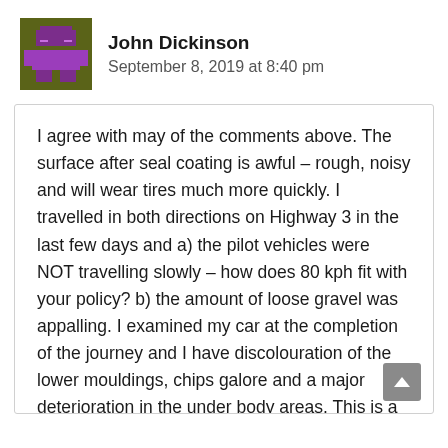[Figure (illustration): Pixel art avatar of a character with purple body on olive/dark yellow background, used as user profile image]
John Dickinson
September 8, 2019 at 8:40 pm
I agree with may of the comments above. The surface after seal coating is awful – rough, noisy and will wear tires much more quickly. I travelled in both directions on Highway 3 in the last few days and a) the pilot vehicles were NOT travelling slowly – how does 80 kph fit with your policy? b) the amount of loose gravel was appalling. I examined my car at the completion of the journey and I have discolouration of the lower mouldings, chips galore and a major deterioration in the under body areas. This is a poorly thought out and badly executed